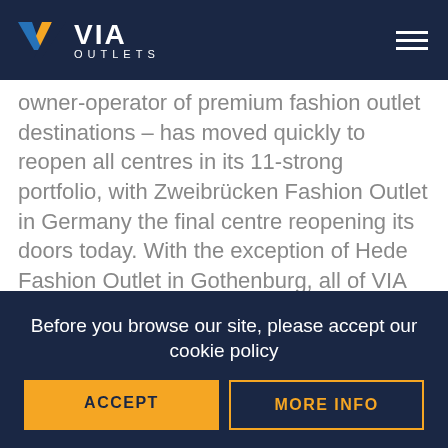VIA OUTLETS
owner-operator of premium fashion outlet destinations – has moved quickly to reopen all centres in its 11-strong portfolio, with Zweibrücken Fashion Outlet in Germany the final centre reopening its doors today. With the exception of Hede Fashion Outlet in Gothenburg, all of VIA Outlets' centres have been partially or completely closed for the majority of the period December to May due to in-country government-imposed Covid-19 restrictions.
Otto Ambagtsheer, Chief Executive Officer
Before you browse our site, please accept our cookie policy
ACCEPT
MORE INFO